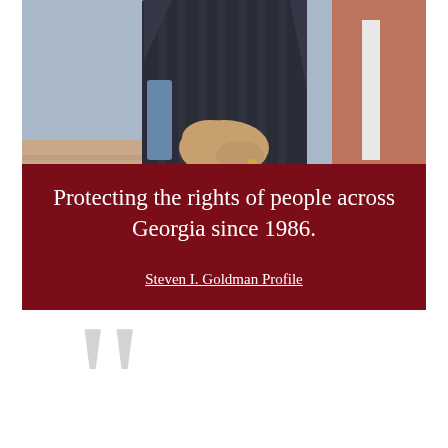[Figure (photo): Photo of a man in a dark plaid suit jacket with hands clasped in front, standing outdoors near a brick building.]
Protecting the rights of people across Georgia since 1986.
Steven I. Goldman Profile
[Figure (illustration): Large decorative light gray opening quotation marks symbol.]